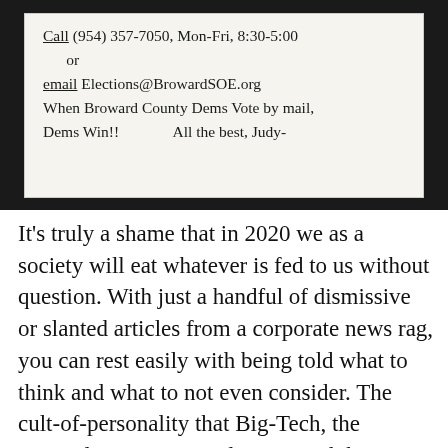[Figure (photo): A photograph of a handwritten note on white/cream paper against a dark background. The note reads: 'Call (954) 357-7050, Mon-Fri, 8:30-5:00 or email Elections@BrowardSOE.org When Broward County Dems Vote by mail, Dems Win!! All the best, Judy-']
It's truly a shame that in 2020 we as a society will eat whatever is fed to us without question. With just a handful of dismissive or slanted articles from a corporate news rag, you can rest easily with being told what to think and what to not even consider. The cult-of-personality that Big-Tech, the Council on Foreign Relations, and their thoroughly controlled Media/Hollywood have created for you over the last decade or so DEMANDS that you look